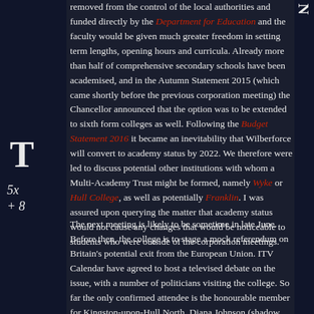removed from the control of the local authorities and funded directly by the Department for Education and the faculty would be given much greater freedom in setting term lengths, opening hours and curricula. Already more than half of comprehensive secondary schools have been academised, and in the Autumn Statement 2015 (which came shortly before the previous corporation meeting) the Chancellor announced that the option was to be extended to sixth form colleges as well. Following the Budget Statement 2016 it became an inevitability that Wilberforce will convert to academy status by 2022. We therefore were led to discuss potential other institutions with whom a Multi-Academy Trust might be formed, namely Wyke or Hull College, as well as potentially Franklin. I was assured upon querying the matter that academy status would not cause any changes that would be noticeable to students who were outside of the corporation meetings.
The next meeting is likely to be sometime in late June. Before then, the college is to stage a mock referendum on Britain's potential exit from the European Union. ITV Calendar have agreed to host a televised debate on the issue, with a number of politicians visiting the college. So far the only confirmed attendee is the honourable member for Kingston-upon-Hull North, Diana Johnson (shadow